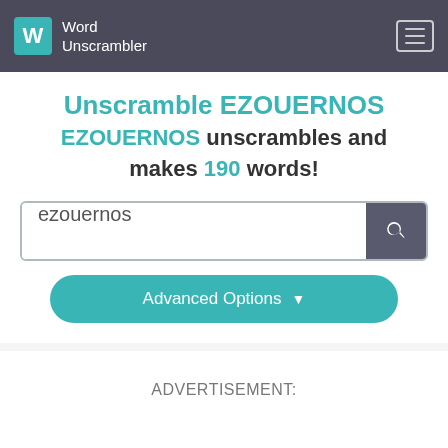Word Unscrambler
Unscramble EZOUERNOS
EZOUERNOS unscrambles and makes 190 words!
ezouernos
Advanced Options
ADVERTISEMENT: